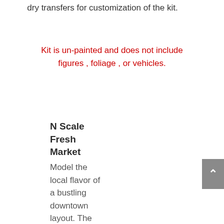dry transfers for customization of the kit.
Kit is un-painted and does not include figures , foliage , or vehicles.
N Scale
Fresh
Market
Model the local flavor of a bustling downtown layout. The Fresh Market presents a vintage store ready to tell the story of an era steeped in culinary tradition...a family bakery, father/son butcher shop or